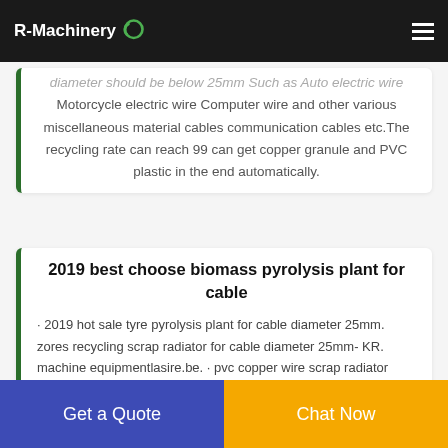R-Machinery
diameter should be below 25mm Such as Auto electric wire Motorcycle electric wire Computer wire and other various miscellaneous material cables communication cables etc.The recycling rate can reach 99 can get copper granule and PVC plastic in the end automatically.
2019 best choose biomass pyrolysis plant for cable
· 2019 hot sale tyre pyrolysis plant for cable diameter 25mm. zores recycling scrap radiator for cable diameter 25mm- KR. machine equipmentlasire.be. · pvc copper wire scrap radiator recycling for municipal solid waste pvc copper wire pvc wire
Get a Quote   Chat Now